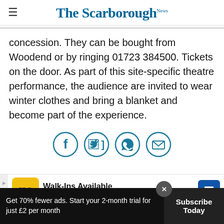The Scarborough News
concession. They can be bought from Woodend or by ringing 01723 384500. Tickets on the door. As part of this site-specific theatre performance, the audience are invited to wear winter clothes and bring a blanket and become part of the experience.
[Figure (other): Social sharing icons: Facebook, Twitter, WhatsApp, Email — circular teal outlined buttons]
[Figure (other): Advertisement banner: Hair Cuttery — Walk-Ins Available]
More Stories
Get 70% fewer ads. Start your 2-month trial for just £2 per month
Subscribe Today